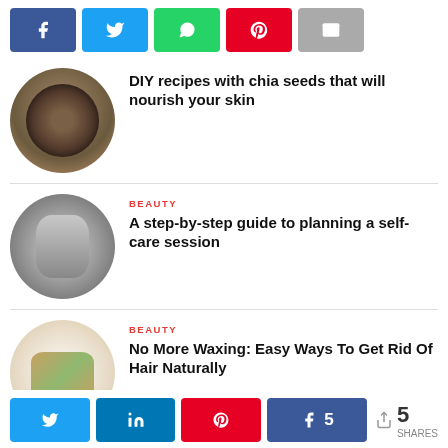[Figure (other): Social share buttons row: Facebook (blue), Twitter (light blue), WhatsApp (green), Pinterest (red), Email (grey)]
[Figure (photo): Circular thumbnail of chia seeds in a wooden bowl]
DIY recipes with chia seeds that will nourish your skin
[Figure (photo): Circular thumbnail of person holding a mug with chunky knit blanket]
BEAUTY
A step-by-step guide to planning a self-care session
[Figure (photo): Circular thumbnail of wooden spoons with natural ingredients]
BEAUTY
No More Waxing: Easy Ways To Get Rid Of Hair Naturally
[Figure (other): Bottom share bar: Twitter, LinkedIn, Pinterest, Facebook with count 5, share icon and 5 SHARES]